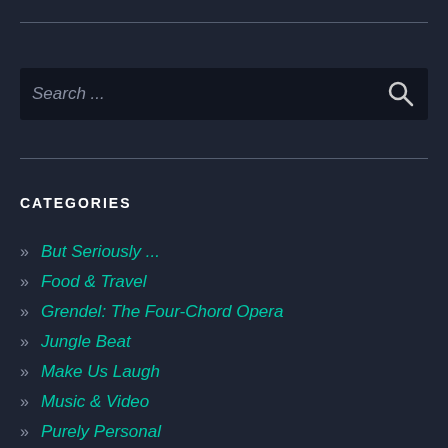[Figure (screenshot): Search bar with placeholder text 'Search ...' and a magnifying glass icon on dark background]
CATEGORIES
» But Seriously ...
» Food & Travel
» Grendel: The Four-Chord Opera
» Jungle Beat
» Make Us Laugh
» Music & Video
» Purely Personal